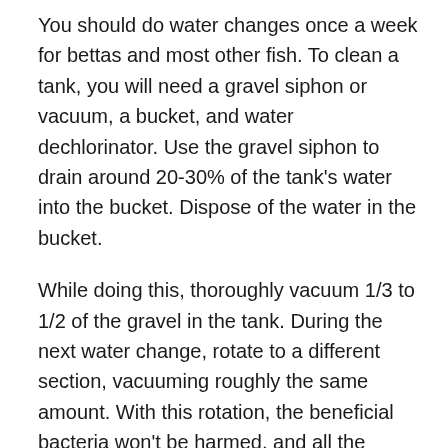You should do water changes once a week for bettas and most other fish. To clean a tank, you will need a gravel siphon or vacuum, a bucket, and water dechlorinator. Use the gravel siphon to drain around 20-30% of the tank's water into the bucket. Dispose of the water in the bucket.
While doing this, thoroughly vacuum 1/3 to 1/2 of the gravel in the tank. During the next water change, rotate to a different section, vacuuming roughly the same amount. With this rotation, the beneficial bacteria won't be harmed, and all the gravel is thoroughly cleaned every 2-3 weeks.